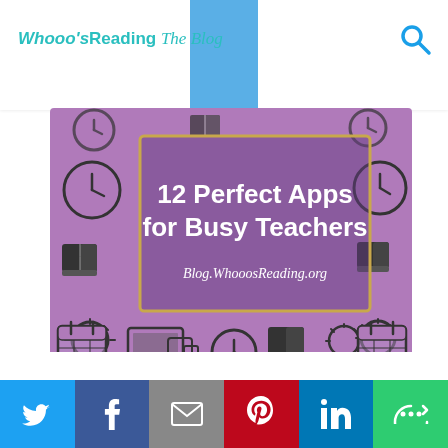Whooo's Reading The Blog
[Figure (infographic): Purple infographic titled '12 Perfect Apps for Busy Teachers' with URL Blog.WhooosReading.org, surrounded by icons of clocks, books, light bulbs, calendars, and laptops on a purple background.]
[Figure (infographic): Social sharing bar with Twitter, Facebook, Email, Pinterest, LinkedIn, and More buttons.]